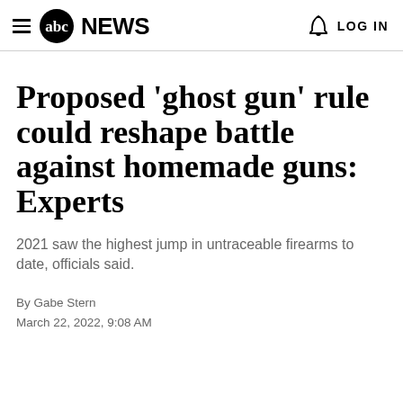abc NEWS  LOG IN
Proposed 'ghost gun' rule could reshape battle against homemade guns: Experts
2021 saw the highest jump in untraceable firearms to date, officials said.
By Gabe Stern
March 22, 2022, 9:08 AM